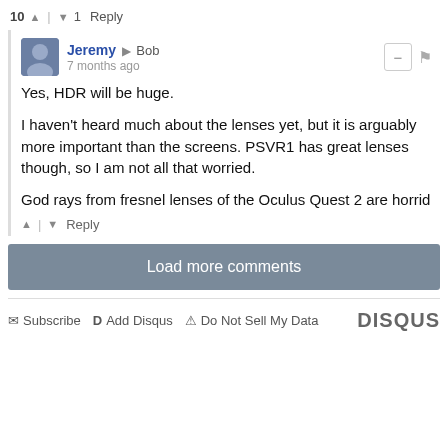10 ↑ | ↓ 1 Reply
Jeremy → Bob
7 months ago
Yes, HDR will be huge.

I haven't heard much about the lenses yet, but it is arguably more important than the screens. PSVR1 has great lenses though, so I am not all that worried.

God rays from fresnel lenses of the Oculus Quest 2 are horrid
↑ | ↓ Reply
Load more comments
Subscribe  Add Disqus  Do Not Sell My Data  DISQUS